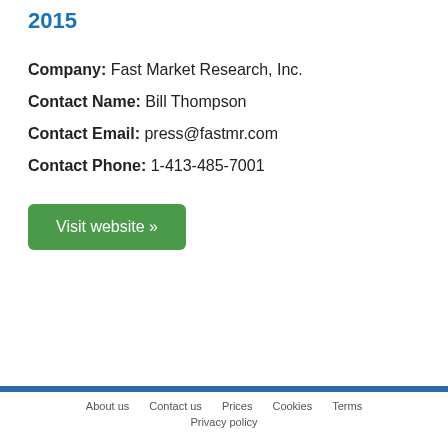2015
Company: Fast Market Research, Inc.
Contact Name: Bill Thompson
Contact Email: press@fastmr.com
Contact Phone: 1-413-485-7001
Visit website »
About us   Contact us   Prices   Cookies   Terms   Privacy policy